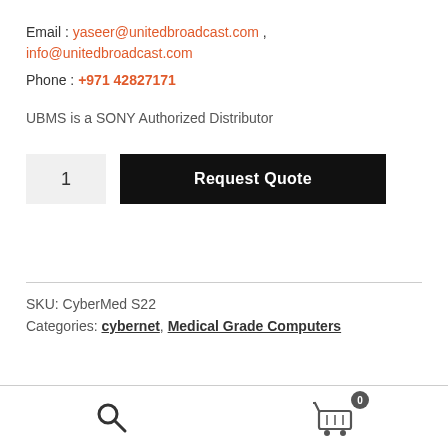Email : yaseer@unitedbroadcast.com , info@unitedbroadcast.com
Phone : +971 42827171
UBMS is a SONY Authorized Distributor
1   Request Quote
SKU: CyberMed S22
Categories: cybernet, Medical Grade Computers